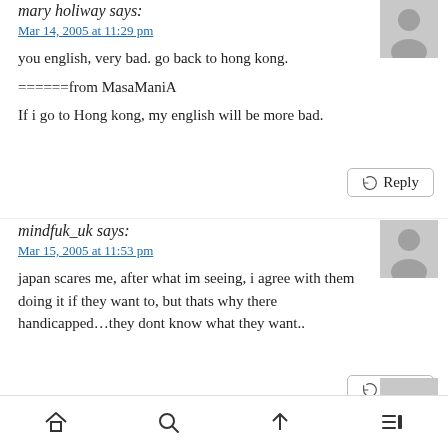mary holiway says:
Mar 14, 2005 at 11:29 pm
you english, very bad. go back to hong kong.
======from MasaManiA
If i go to Hong kong, my english will be more bad.
Reply
mindfuk_uk says:
Mar 15, 2005 at 11:53 pm
japan scares me, after what im seeing, i agree with them doing it if they want to, but thats why there handicapped…they dont know what they want..
Reply